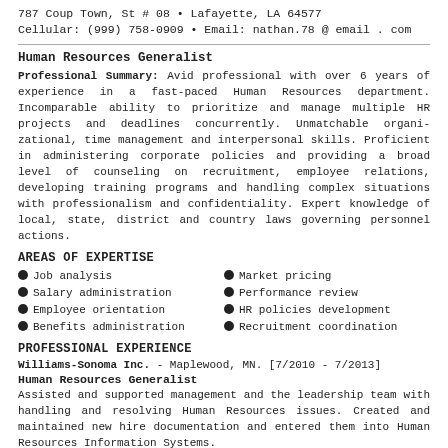787 Coup Town, St # 08 • Lafayette, LA 64577
Cellular: (999) 758-0909 • Email: nathan.78 @ email . com
Human Resources Generalist
Professional Summary: Avid professional with over 6 years of experience in a fast-paced Human Resources department. Incomparable ability to prioritize and manage multiple HR projects and deadlines concurrently. Unmatchable organizational, time management and interpersonal skills. Proficient in administering corporate policies and providing a broad level of counseling on recruitment, employee relations, developing training programs and handling complex situations with professionalism and confidentiality. Expert knowledge of local, state, district and country laws governing personnel actions.
AREAS OF EXPERTISE
Job analysis
Salary administration
Employee orientation
Benefits administration
Market pricing
Performance review
HR policies development
Recruitment coordination
PROFESSIONAL EXPERIENCE
Williams-Sonoma Inc. - Maplewood, MN. [7/2010 - 7/2013]
Human Resources Generalist
Assisted and supported management and the leadership team with handling and resolving Human Resources issues. Created and maintained new hire documentation and entered them into Human Resources Information Systems.
• HR Management: Supported processing and maintenance of payroll records in accordance with policies and procedures, informed Human Resources about issues related to employee relations within the division or property and responded appropriately to the concerns of other employees.